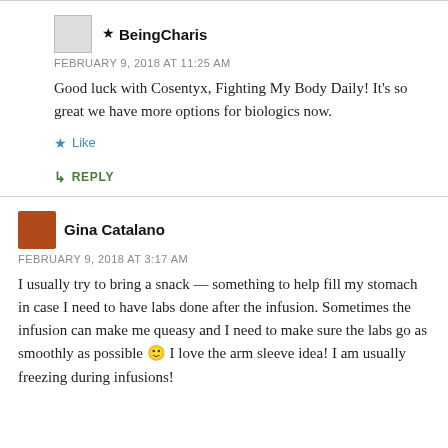★ BeingCharis
FEBRUARY 9, 2018 AT 11:25 AM
Good luck with Cosentyx, Fighting My Body Daily! It's so great we have more options for biologics now.
★ Like
↳ REPLY
Gina Catalano
FEBRUARY 9, 2018 AT 3:17 AM
I usually try to bring a snack — something to help fill my stomach in case I need to have labs done after the infusion. Sometimes the infusion can make me queasy and I need to make sure the labs go as smoothly as possible 🙂 I love the arm sleeve idea! I am usually freezing during infusions!